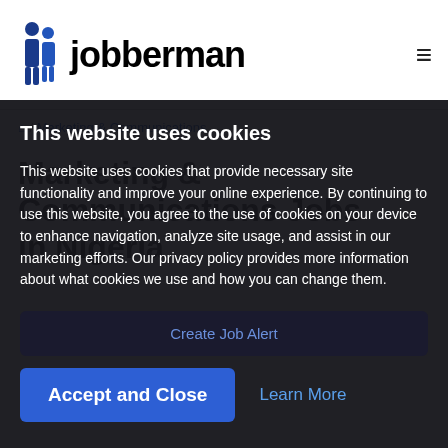[Figure (logo): Jobberman logo with two silhouette figures and text 'Jobberman']
≡
🏠 / Marketing & Communications
Marketing & Communications Jobs in Nigeria
This website uses cookies
This website uses cookies that provide necessary site functionality and improve your online experience. By continuing to use this website, you agree to the use of cookies on your device to enhance navigation, analyze site usage, and assist in our marketing efforts. Our privacy policy provides more information about what cookies we use and how you can change them.
Create Job Alert
Accept and Close
Learn More